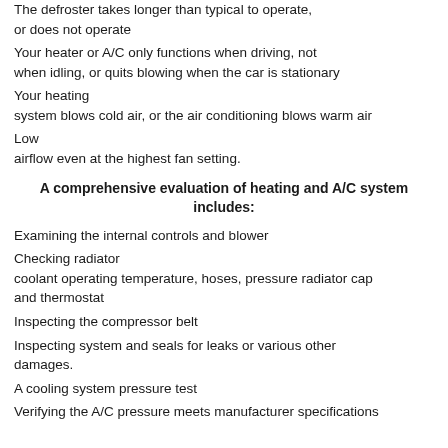The defroster takes longer than typical to operate, or does not operate
Your heater or A/C only functions when driving, not when idling, or quits blowing when the car is stationary
Your heating system blows cold air, or the air conditioning blows warm air
Low airflow even at the highest fan setting.
A comprehensive evaluation of heating and A/C system includes:
Examining the internal controls and blower
Checking radiator coolant operating temperature, hoses, pressure radiator cap and thermostat
Inspecting the compressor belt
Inspecting system and seals for leaks or various other damages.
A cooling system pressure test
Verifying the A/C pressure meets manufacturer specifications